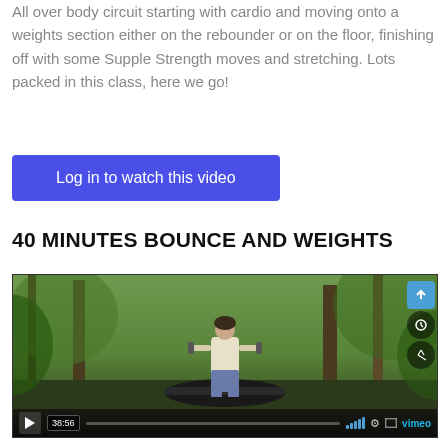All over body circuit starting with cardio and moving onto a weights section either on the rebounder or on the floor, finishing off with some Supple Strength moves and stretching. Lots packed in this class, here we go!
Log in to watch this video
40 MINUTES BOUNCE AND WEIGHTS
[Figure (screenshot): Vimeo video player thumbnail showing a woman standing on a mini trampoline/rebounder outdoors holding dumbbells, surrounded by trees and foliage. Video duration shows 38:56. Controls include play button, progress bar, signal bars, settings gear, fullscreen, and Vimeo logo.]